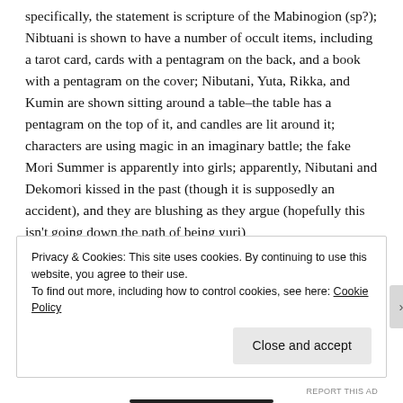specifically, the statement is scripture of the Mabinogion (sp?); Nibtuani is shown to have a number of occult items, including a tarot card, cards with a pentagram on the back, and a book with a pentagram on the cover; Nibutani, Yuta, Rikka, and Kumin are shown sitting around a table–the table has a pentagram on the top of it, and candles are lit around it; characters are using magic in an imaginary battle; the fake Mori Summer is apparently into girls; apparently, Nibutani and Dekomori kissed in the past (though it is supposedly an accident), and they are blushing as they argue (hopefully this isn't going down the path of being yuri)
Privacy & Cookies: This site uses cookies. By continuing to use this website, you agree to their use.
To find out more, including how to control cookies, see here: Cookie Policy
Close and accept